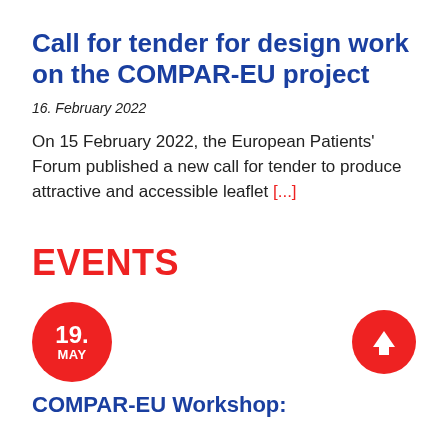Call for tender for design work on the COMPAR-EU project
16. February 2022
On 15 February 2022, the European Patients' Forum published a new call for tender to produce attractive and accessible leaflet [...]
EVENTS
[Figure (infographic): Red circle with white text '19. MAY' as an event date badge, and a red circle with a white upward arrow icon on the right side]
COMPAR-EU Workshop: